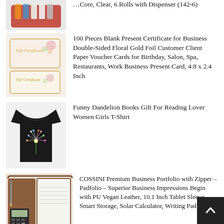Core, Clear, 6 Rolls with Dispenser (142-6)
[Figure (photo): Red tape dispenser with multiple rolls of clear tape]
[Figure (photo): Gift certificates with floral gold foil design]
100 Pieces Blank Present Certificate for Business Double-Sided Floral Gold Foil Customer Client Paper Voucher Cards for Birthday, Salon, Spa, Restaurants, Work Business Present Card, 4.8 x 2.4 Inch
[Figure (photo): Black t-shirt with colorful dandelion design]
Funny Dandelion Books Gift For Reading Lover Women Girls T-Shirt
[Figure (photo): Brown leather business portfolio/padfolio open showing notepad and calculator]
COSSINI Premium Business Portfolio with Zipper – Padfolio – Superior Business Impressions Begin with PU Vegan Leather, 10.1 Inch Tablet Sleeve, Smart Storage, Solar Calculator, Writing Pad – Tan
CREDIT REPAIR ARTICLES
CREDIT REPAIR VIDEOS